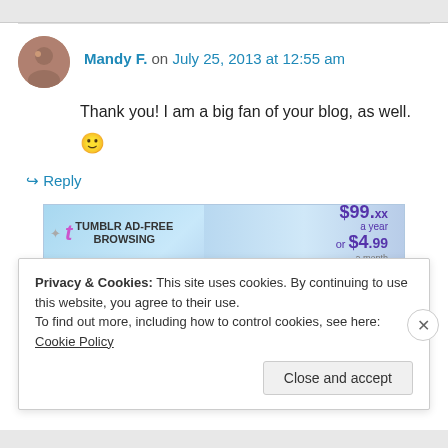Mandy F. on July 25, 2013 at 12:55 am
Thank you! I am a big fan of your blog, as well. 🙂
↪ Reply
[Figure (screenshot): Tumblr AD-FREE BROWSING banner ad showing price $39.xx a year or $4.99 a month]
REPORT THIS AD
Privacy & Cookies: This site uses cookies. By continuing to use this website, you agree to their use.
To find out more, including how to control cookies, see here: Cookie Policy
Close and accept